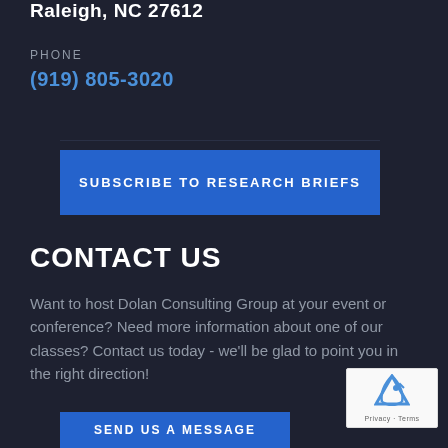Raleigh, NC 27612
PHONE
(919) 805-3020
[Figure (other): Blue subscribe button with text SUBSCRIBE TO RESEARCH BRIEFS]
CONTACT US
Want to host Dolan Consulting Group at your event or conference? Need more information about one of our classes? Contact us today - we'll be glad to point you in the right direction!
[Figure (other): Blue button with text SEND US A MESSAGE]
[Figure (other): reCAPTCHA badge with Privacy and Terms text]